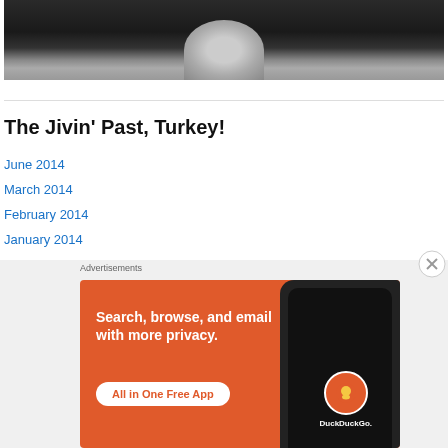[Figure (photo): Cropped photograph showing a person's torso/midsection against a dark background]
The Jivin’ Past, Turkey!
June 2014
March 2014
February 2014
January 2014
December 2013
November 2013
October 2013
[Figure (screenshot): DuckDuckGo advertisement banner on orange background with text: Search, browse, and email with more privacy. All in One Free App. Shows DuckDuckGo logo and phone mockup.]
Advertisements